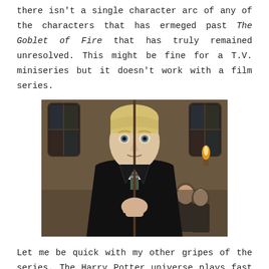there isn't a single character arc of any of the characters that has ermeged past The Goblet of Fire that has truly remained unresolved. This might be fine for a T.V. miniseries but it doesn't work with a film series.
[Figure (photo): A young blond student in Hogwarts robes holding a wand up close to his face, with other students visible in the background in a grand hall setting.]
Let me be quick with my other gripes of the series. The Harry Potter universe plays fast and loose with the magical abilities. For example, in The Sorcerer's Stone Harry is able to make a glass case disappear as well as talk to a snake just